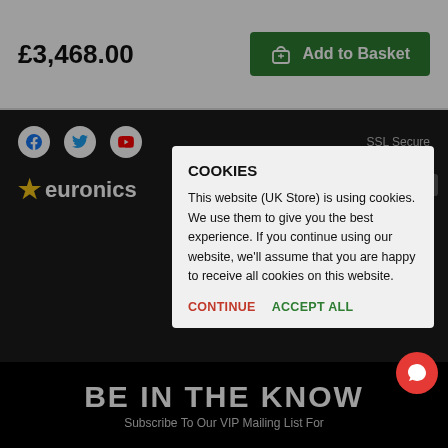£3,468.00
Add to Basket
COOKIES
This website (UK Store) is using cookies. We use them to give you the best experience. If you continue using our website, we'll assume that you are happy to receive all cookies on this website.
CONTINUE  ACCEPT ALL
SSL Secure
euronics
Credit subject to status. Terms & Conditions Apply. EMS DEV are a credit broker and are Authorised and Regulated by the Financial Conduct Authority. Credit is provided by Hitachi Personal Finance, a division of
BE IN THE KNOW
Subscribe To Our VIP Mailing List For